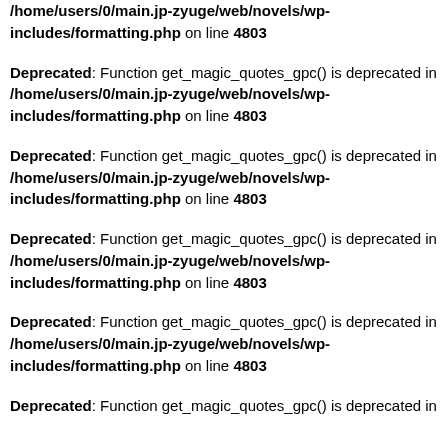/home/users/0/main.jp-zyuge/web/novels/wp-includes/formatting.php on line 4803
Deprecated: Function get_magic_quotes_gpc() is deprecated in /home/users/0/main.jp-zyuge/web/novels/wp-includes/formatting.php on line 4803
Deprecated: Function get_magic_quotes_gpc() is deprecated in /home/users/0/main.jp-zyuge/web/novels/wp-includes/formatting.php on line 4803
Deprecated: Function get_magic_quotes_gpc() is deprecated in /home/users/0/main.jp-zyuge/web/novels/wp-includes/formatting.php on line 4803
Deprecated: Function get_magic_quotes_gpc() is deprecated in /home/users/0/main.jp-zyuge/web/novels/wp-includes/formatting.php on line 4803
Deprecated: Function get_magic_quotes_gpc() is deprecated in ...